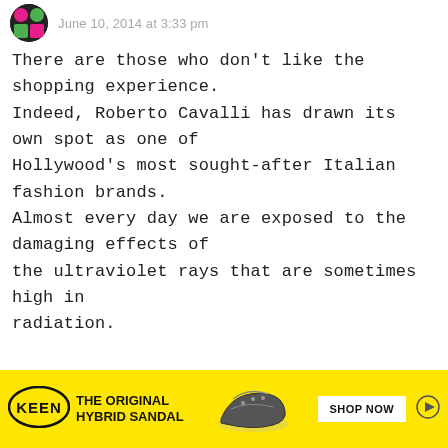June 10, 2014 at 3:33 pm
There are those who don't like the shopping experience.
Indeed, Roberto Cavalli has drawn its own spot as one of
Hollywood's most sought-after Italian fashion brands.
Almost every day we are exposed to the damaging effects of
the ultraviolet rays that are sometimes high in radiation.
REPLY
[Figure (advertisement): Keen shoes advertisement banner with yellow background. Logo reads KEEN, tagline THE ORIGINAL HYBRID SANDAL, with a photo of a sandal shoe and a SHOP NOW button.]